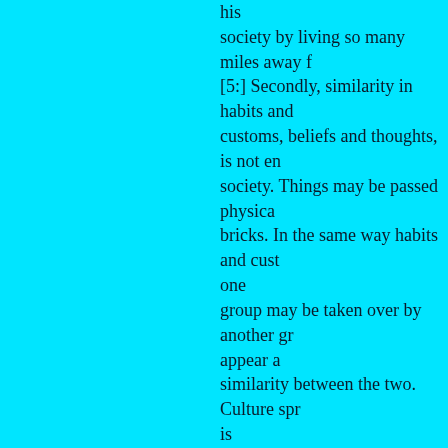his society by living so many miles away f [5:] Secondly, similarity in habits and customs, beliefs and thoughts, is not en society. Things may be passed physica bricks. In the same way habits and cust one group may be taken over by another gr appear a similarity between the two. Culture spr is why one finds similarity between vario matter of their habits and customs, beliefs and not live in proximity. But no one could say similarity, the primitive tribes constitut because similarity in certain things is n society. [6:] Men constitute a society because t have things which they possess in com is totally different from possessing things way by which men can come to possess things